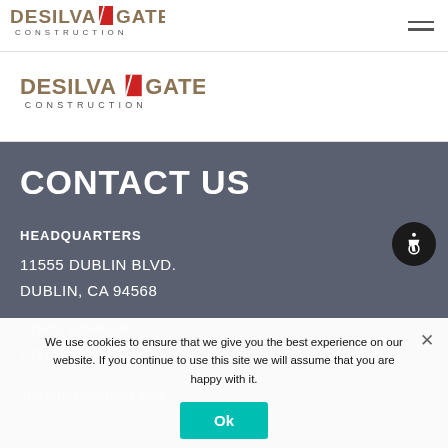[Figure (logo): DeSilva Gates Construction logo in navigation bar]
[Figure (logo): DeSilva Gates Construction logo in main content area]
CONTACT US
HEADQUARTERS
11555 DUBLIN BLVD.
DUBLIN, CA 94568
T.(925) 829-9220
F.(975) 803-7423
info@desilvagates.com
We use cookies to ensure that we give you the best experience on our website. If you continue to use this site we will assume that you are happy with it.